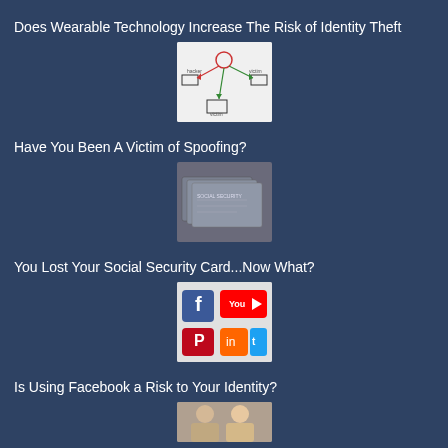Does Wearable Technology Increase The Risk of Identity Theft
[Figure (illustration): Network/spoofing diagram showing connected nodes with arrows on white background]
Have You Been A Victim of Spoofing?
[Figure (photo): Stack of social security cards fanned out, close-up photo with dark tones]
You Lost Your Social Security Card...Now What?
[Figure (photo): Social media app icons on a device including Facebook, YouTube, Pinterest and others]
Is Using Facebook a Risk to Your Identity?
[Figure (photo): Two people photo, partial view at bottom of page]